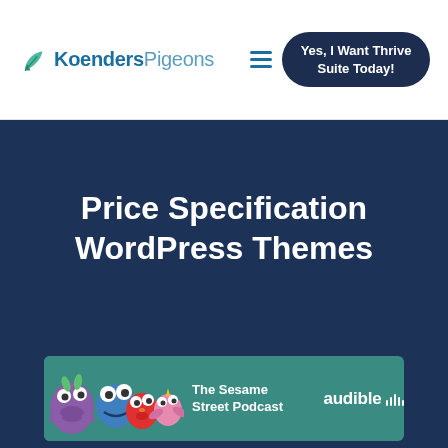KoendersPigeons — Yes, I Want Thrive Suite Today!
Price Specification WordPress Themes
[Figure (illustration): Audible advertisement banner featuring Sesame Street characters (purple monster, Cookie Monster, Elmo, Abby) with text 'The Sesame Street Podcast' and audible logo]